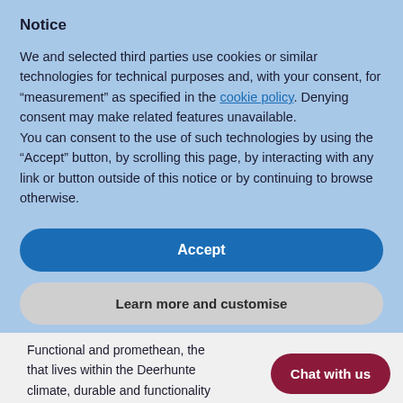Notice
We and selected third parties use cookies or similar technologies for technical purposes and, with your consent, for “measurement” as specified in the cookie policy. Denying consent may make related features unavailable.
You can consent to the use of such technologies by using the “Accept” button, by scrolling this page, by interacting with any link or button outside of this notice or by continuing to browse otherwise.
Accept
Learn more and customise
Functional and promethean, the that lives within the Deerhunte climate, durable and functionality ensure it is the right brand for hunters and
Chat with us